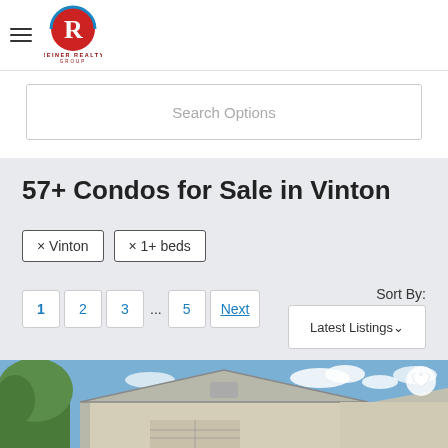[Figure (logo): Reiner Realty Group logo with hamburger menu icon]
Search Options
57+ Condos for Sale in Vinton
× Vinton
× 1+ beds
1  2  3  ...  5  Next
Sort By: Latest Listings
[Figure (photo): House/condo exterior photo with blue sky background, showing roofline of suburban homes]